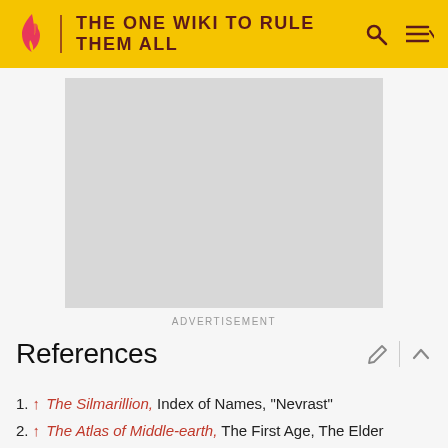THE ONE WIKI TO RULE THEM ALL
[Figure (screenshot): Advertisement placeholder area (grey rectangle)]
ADVERTISEMENT
References
1. ↑ The Silmarillion, Index of Names, "Nevrast"
2. ↑ The Atlas of Middle-earth, The First Age, The Elder Days, "Nevrast"